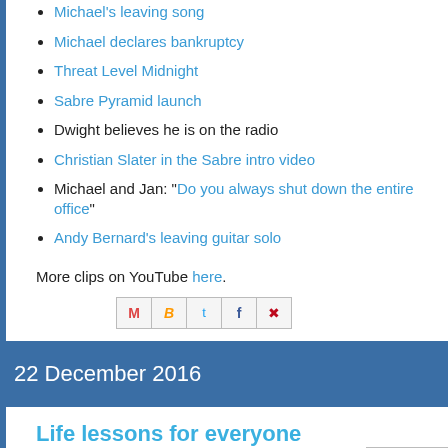Michael's leaving song
Michael declares bankruptcy
Threat Level Midnight
Sabre Pyramid launch
Dwight believes he is on the radio
Christian Slater in the Sabre intro video
Michael and Jan: "Do you always shut down the entire office"
Andy Bernard's leaving guitar solo
More clips on YouTube here.
[Figure (other): Social share buttons: Gmail, Blogger, Twitter, Facebook, Pinterest]
22 December 2016
Life lessons for everyone
[Figure (photo): Partially visible image at bottom right]